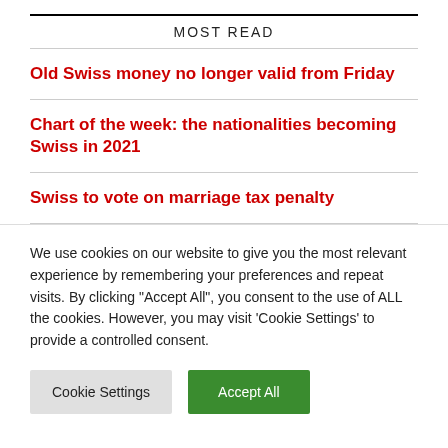MOST READ
Old Swiss money no longer valid from Friday
Chart of the week: the nationalities becoming Swiss in 2021
Swiss to vote on marriage tax penalty
We use cookies on our website to give you the most relevant experience by remembering your preferences and repeat visits. By clicking "Accept All", you consent to the use of ALL the cookies. However, you may visit 'Cookie Settings' to provide a controlled consent.
Cookie Settings | Accept All